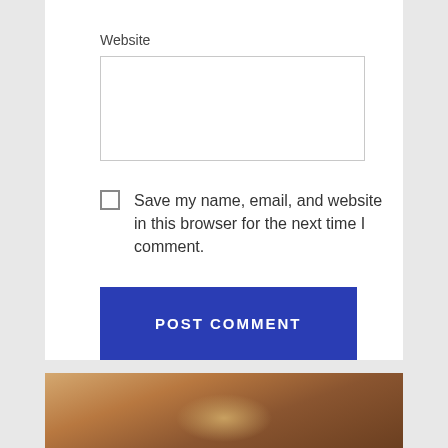Website
Save my name, email, and website in this browser for the next time I comment.
POST COMMENT
[Figure (photo): Partial view of a person with hair visible, warm brown tones, cropped at the bottom of the page.]